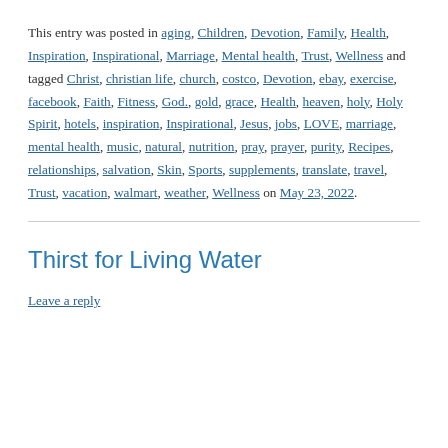This entry was posted in aging, Children, Devotion, Family, Health, Inspiration, Inspirational, Marriage, Mental health, Trust, Wellness and tagged Christ, christian life, church, costco, Devotion, ebay, exercise, facebook, Faith, Fitness, God., gold, grace, Health, heaven, holy, Holy Spirit, hotels, inspiration, Inspirational, Jesus, jobs, LOVE, marriage, mental health, music, natural, nutrition, pray, prayer, purity, Recipes, relationships, salvation, Skin, Sports, supplements, translate, travel, Trust, vacation, walmart, weather, Wellness on May 23, 2022.
Thirst for Living Water
Leave a reply